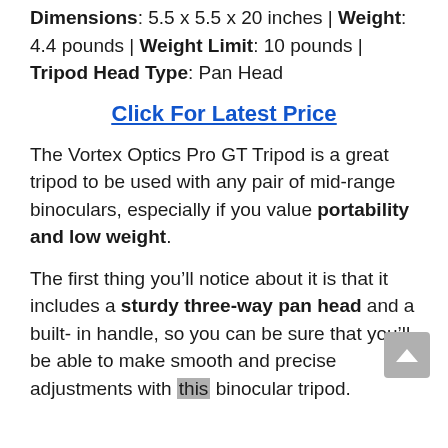Dimensions: 5.5 x 5.5 x 20 inches | Weight: 4.4 pounds | Weight Limit: 10 pounds | Tripod Head Type: Pan Head
Click For Latest Price
The Vortex Optics Pro GT Tripod is a great tripod to be used with any pair of mid-range binoculars, especially if you value portability and low weight.
The first thing you’ll notice about it is that it includes a sturdy three-way pan head and a built-in handle, so you can be sure that you’ll be able to make smooth and precise adjustments with this binocular tripod.